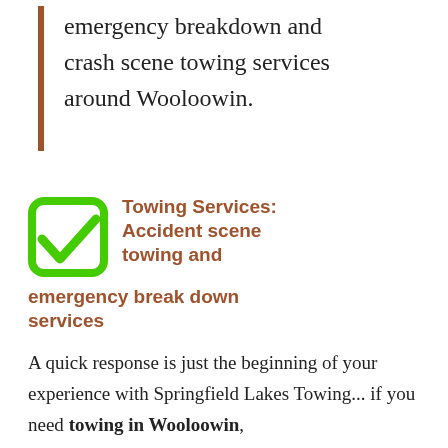emergency breakdown and crash scene towing services around Wooloowin.
Towing Services: Accident scene towing and emergency break down services
A quick response is just the beginning of your experience with Springfield Lakes Towing... if you need towing in Wooloowin,